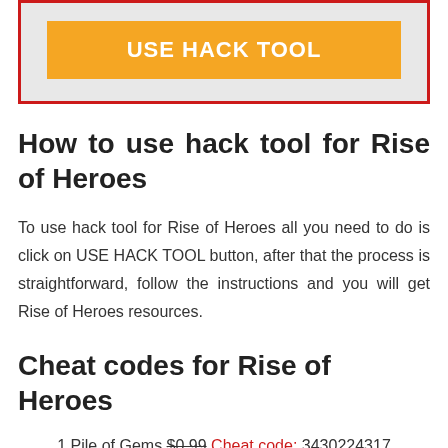[Figure (other): Orange USE HACK TOOL button inside a light gray box with red border]
How to use hack tool for Rise of Heroes
To use hack tool for Rise of Heroes all you need to do is click on USE HACK TOOL button, after that the process is straightforward, follow the instructions and you will get Rise of Heroes resources.
Cheat codes for Rise of Heroes
1 Pile of Gems $0.99 Cheat code: 3430224317